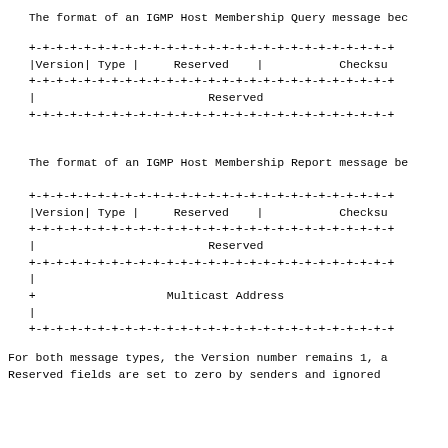The format of an IGMP Host Membership Query message bec
[Figure (schematic): ASCII diagram of IGMP Host Membership Query message format showing fields: Version, Type, Reserved, Checksum, Reserved]
The format of an IGMP Host Membership Report message be
[Figure (schematic): ASCII diagram of IGMP Host Membership Report message format showing fields: Version, Type, Reserved, Checksum, Reserved, Multicast Address]
For both message types, the Version number remains 1, a
Reserved fields are set to zero by senders and ignored